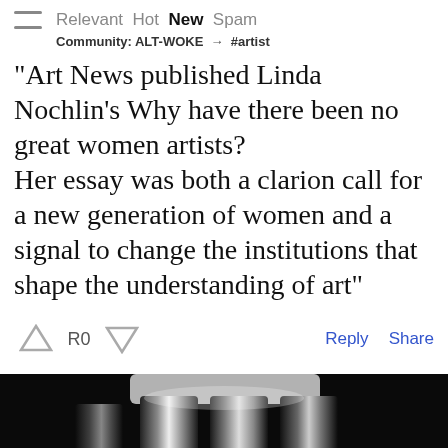Relevant  Hot  New  Spam  Community: ALT-WOKE → #artist
"Art News published Linda Nochlin's Why have there been no great women artists? Her essay was both a clarion call for a new generation of women and a signal to change the institutions that shape the understanding of art"
▲  R0  ▼  Reply  Share
[Figure (photo): Dark background with metallic cylinder/pillar shapes lit from above with a light source, styled editorial photo. Text overlay reads: PAINTING HERE AND NOW / Marina Molarsky-Beck on. A blue circular button in the bottom right reads Login / Help.]